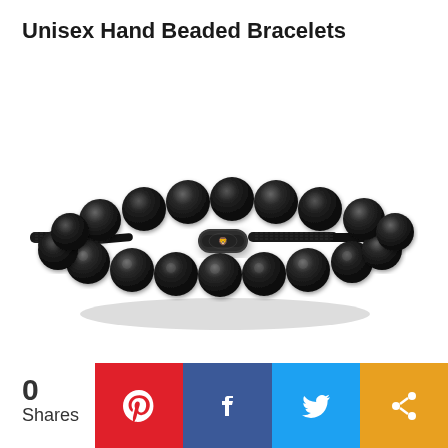Unisex Hand Beaded Bracelets
[Figure (photo): Black matte beaded bracelet with adjustable black cord and metal logo clasp, displayed on white background]
0 Shares
[Figure (infographic): Social share buttons: Pinterest (red), Facebook (blue), Twitter (light blue), Share (orange)]